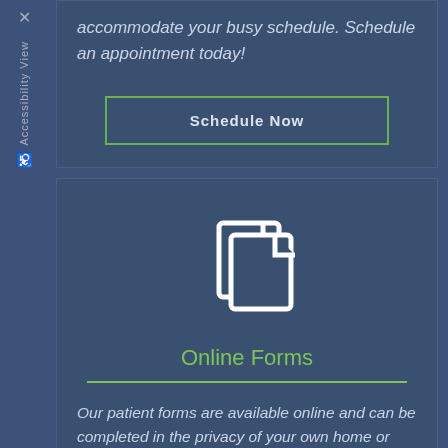accommodate your busy schedule. Schedule an appointment today!
Schedule Now
[Figure (illustration): Two overlapping document/form pages icon in white outline style]
Online Forms
Our patient forms are available online and can be completed in the privacy of your own home or office.